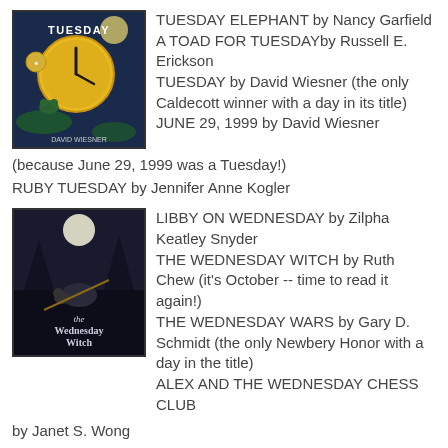[Figure (illustration): Cover of the book 'Tuesday' by David Wiesner, showing a large yellow clock face at night with a frog, Caldecott Medal winner.]
TUESDAY ELEPHANT by Nancy Garfield
A TOAD FOR TUESDAYby Russell E. Erickson
TUESDAY by David Wiesner (the only Caldecott winner with a day in its title)
JUNE 29, 1999 by David Wiesner (because June 29, 1999 was a Tuesday!)
RUBY TUESDAY by Jennifer Anne Kogler
[Figure (illustration): Cover of the book 'The Wednesday Witch' showing a witch and a cat on a broomstick at night.]
LIBBY ON WEDNESDAY by Zilpha Keatley Snyder
THE WEDNESDAY WITCH by Ruth Chew (it's October -- time to read it again!)
THE WEDNESDAY WARS by Gary D. Schmidt (the only Newbery Honor with a day in the title)
ALEX AND THE WEDNESDAY CHESS CLUB by Janet S. Wong
WACKY WEDNESDAY by Dr. Seuss
WHAT HAPPENS ON WEDNESDAYS by Emily Jenkins